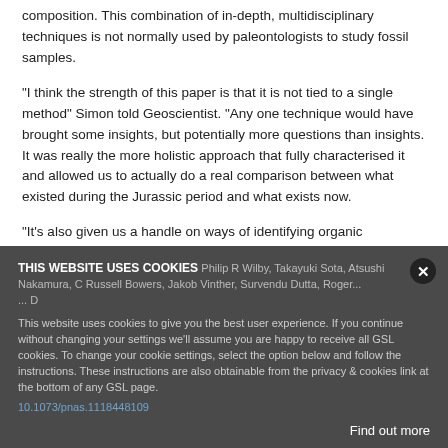composition. This combination of in-depth, multidisciplinary techniques is not normally used by paleontologists to study fossil samples.
"I think the strength of this paper is that it is not tied to a single method" Simon told Geoscientist. "Any one technique would have brought some insights, but potentially more questions than insights. It was really the more holistic approach that fully characterised it and allowed us to actually do a real comparison between what existed during the Jurassic period and what exists now.
"It's also given us a handle on ways of identifying organic components in fossils that might have been missed using standard methods."
Reference
Philip R Wilby, Takayuki Sota, Atsushi Nakamura, C Russell Bowers, Jakob Vinther, Survendu Dutta, Roger... D
10.1073/pnas.1118448109
THIS WEBSITE USES COOKIES
This website uses cookies to give you the best user experience. If you continue without changing your settings we'll assume you are happy to receive all GSL cookies. To change your cookie settings, select the option below and follow the instructions. These instructions are also obtainable from the privacy & cookies link at the bottom of any GSL page.
Find out more